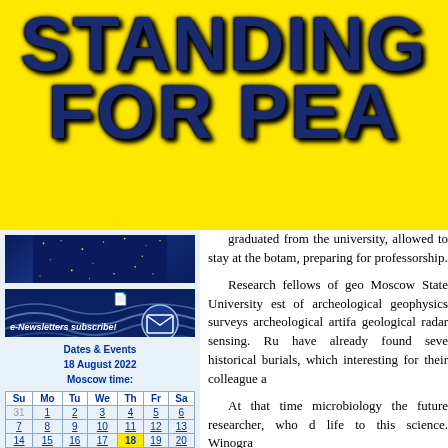STANDING FOR PEA
[Figure (illustration): Dark blue banner with scattered yellow stars/dots, night sky appearance]
[Figure (illustration): Dark blue banner with white wave lines and circular mail icon, 'e-Newsletters subscribe!' text]
| Su | Mo | Tu | We | Th | Fr | Sa |
| --- | --- | --- | --- | --- | --- | --- |
| 31 | 1 | 2 | 3 | 4 | 5 | 6 |
| 7 | 8 | 9 | 10 | 11 | 12 | 13 |
| 14 | 15 | 16 | 17 | 18 | 19 | 20 |
Dates & Events
18 August 2022
Moscow time:
graduated from the university, allowed to stay at the botam, preparing for professorship.

Research fellows of geo Moscow State University est of archeological geophysics surveys archeological artifa geological radar sensing. Ru have already found seve historical burials, which interesting for their colleague a

At that time microbiology the future researcher, who d life to this science. Winogra